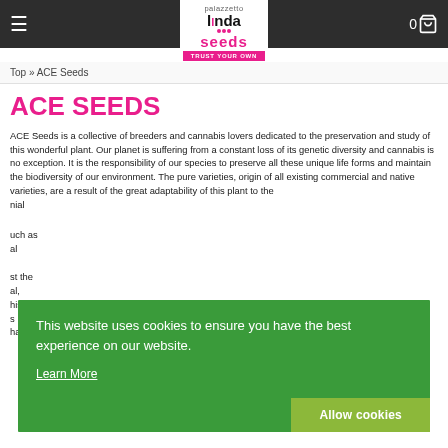Linda Seeds — Trust Your Own
Top » ACE Seeds
ACE SEEDS
ACE Seeds is a collective of breeders and cannabis lovers dedicated to the preservation and study of this wonderful plant. Our planet is suffering from a constant loss of its genetic diversity and cannabis is no exception. It is the responsibility of our species to preserve all these unique life forms and maintain the biodiversity of our environment. The pure varieties, origin of all existing commercial and native varieties, are a result of the great adaptability of this plant to the ... nial ... uch as al ... st the al, his ... s have a unique profile of cannabinoids and terpenes that could be used
This website uses cookies to ensure you have the best experience on our website.
Learn More
Allow cookies